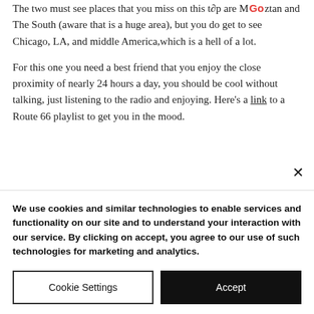The two must see places that you miss on this trip are Manhattan and The South (aware that is a huge area), but you do get to see Chicago, LA, and middle America, which is a hell of a lot.
For this one you need a best friend that you enjoy the close proximity of nearly 24 hours a day, you should be cool without talking, just listening to the radio and enjoying. Here's a link to a Route 66 playlist to get you in the mood.
We use cookies and similar technologies to enable services and functionality on our site and to understand your interaction with our service. By clicking on accept, you agree to our use of such technologies for marketing and analytics.